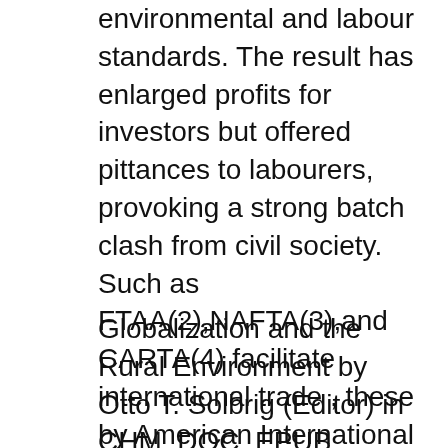environmental and labour standards. The result has enlarged profits for investors but offered pittances to labourers, provoking a strong batch clash from civil society. Such as FTAA(2),NAFTA(3),and CARTA(4) facilitate international trade , these by American International Journal of Contemporary Research Vol. 6, No. 2; April 2016 64 Environmental Impacts of Globalization and a Solution Proposal
Globalization and the Rural Environment by Otto T. Solbrig (Editor) in CHM, DOC, EPUB download e-book. Welcome to our site, dear reader! All content included on our site, such as text, images, digital downloads and other, is the property of